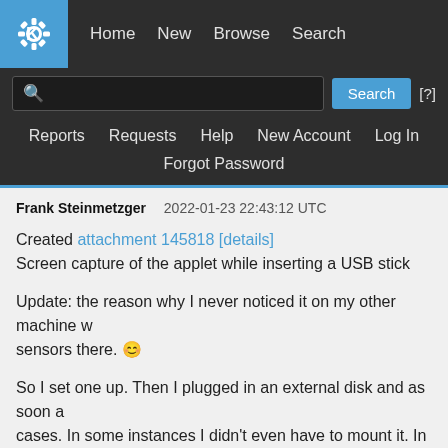KDE Home New Browse Search
Reports  Requests  Help  New Account  Log In
Forgot Password
Frank Steinmetzger   2022-01-23 22:43:12 UTC
Created attachment 145818 [details]
Screen capture of the applet while inserting a USB stick
Update: the reason why I never noticed it on my other machine w... sensors there. 😊
So I set one up. Then I plugged in an external disk and as soon a... cases. In some instances I didn't even have to mount it. In the att... watch it, then plugged in the stick and a fraction of a second late... i... b... d... O... i... t... i... t... t... th...